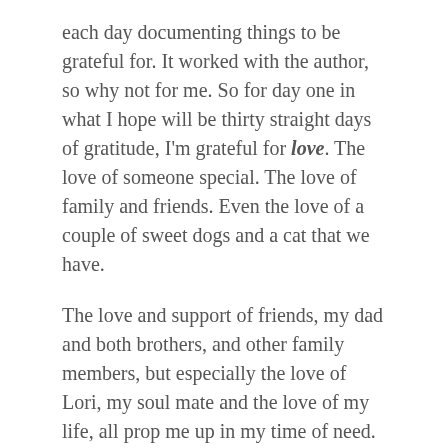each day documenting things to be grateful for.  It worked with the author, so why not for me.  So for day one in what I hope will be thirty straight days of gratitude, I'm grateful for love.  The love of someone special.  The love of family and friends.  Even the love of a couple of sweet dogs and a cat that we have.
The love and support of friends, my dad and both brothers, and other family members, but especially the love of Lori, my soul mate and the love of my life, all prop me up in my time of need.  At first, the darkness filled my mind and my spirits were low, but slowly they rise.  The sun rises once again, the fog lifts.  Yes, my career has taken a blow, but we'll rise.  I choose to not feel alone or isolated.  I don't need to feel embarrassed at being without a job.  If anything, I've learned much about myself over this past month, and have a new sense of empathy for those in similar situations.  Sometimes bad things